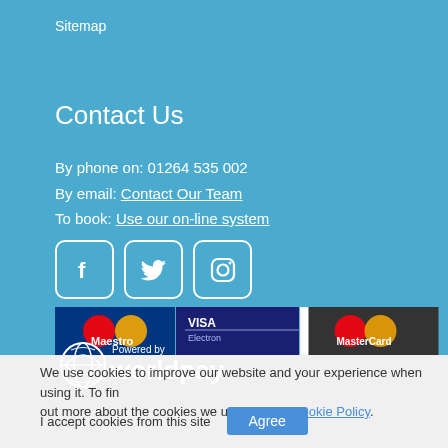Sitemap
Contact Us
By phone on: 01264 535 002
By email: Contact Our Team
To book: Use our on-line system
[Figure (logo): Facebook, Twitter, and Instagram social media icons as rounded square buttons with white icons on blue background]
[Figure (logo): Payment method logos: Maestro, VISA Electron, VISA, MasterCard]
[Figure (logo): Powered by Worldpay logo with globe icon]
We use cookies to improve our website and your experience when using it. To find out more about the cookies we use see our Cookie Policy.
I accept cookies from this site
Agree